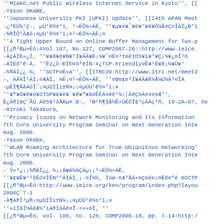'MIAKO.net Public Wireless Internet Service in Kyoto'', [[
-Yasuo OKABE,
''Japanese University PKI (UPKI) Update'', [[24th APAN Meet
-¿¹ËÜ¾°Ç·, µÜ°ê½¤°ï, ²¬ÉÔ¼÷ÃË, ''¥µ¥¤¥¯¥ë¥°¥é¥Ö¼å¤Ç¤ÎÃÏ¿Ð°ï
-¾®ÎÔ¹ÀÆó¡¤µÜ°ê½¤°ï¡¤²¬ÉÔ¼÷ÃË¡¤
''A Tight Upper Bound on Online Buffer Management for Two-p
[[¿®³Øµ»Êó¡¤Vol.107, No.127, COMP2007-26::http://www.ieice.
-ÃçÃÏÈ»¿Í, ''¥¥ã¥ó¥Ñ¥¹Í¥ÃÀ¥Ë¡¼¥¯¤Ë¤³±¤ëIDS¥ï¥°¥Ç¡¼¥¿¤Î²ô
-ÃÏÉð°ê·Ã, ''Êÿ¿ô·ÐÏ©¤ò³èÍÑ·¤¿TCP-Friendly¤Ê¥¹Ë¥ê¡¼¥Ü¥°
-¾®ÃÏ¿¿·¼, ''SCTP¤Ë»ä'', [[ITRC20:http://www.itrc.net/meet2
-, ÀÄ¾Î¹ÀÌ¡¤ÆÀÎ, ¼Ê¡¤²¬ÉÔ¼÷ÃË, ''¤Ø¤¢¤³Í¥ÃÀ¥Ë¼Å¼Ú¼Ã³¤ÎÃ
-µÈÎ¶ÅÃÃóÏ¯¡¤µÜÏÎı±Ñ¼¡¡¤µÜÜ°ê½¤°ï¡¤
''¥ª¥Ö¥é¥¤¥óTSP¥¢¥ë¥´¥ê¥º¥à¤ÊÉÁ¤ëê²¼¡¦ÃéÇ¤Ã¤¤¤¤Æ'',
Ê¿À®18Ç¯ÅÙ Ãê59²óÅÃµ¤´Ø·, ³Ø²ñ¶§å½Ê»ÙÉôÏ¢¹çÃÃç²ñ, 10-2A-07, Se
-Hiroki Takakura,
''Privacy Issues on Network Monitoring and Its Information
7th Core University Program Seminar on Next Generation Inte
Aug. 2006.
-Yasuo Okabe,
''WLAN Roaming Architecture for True Ubiquitous Networking'
7th Core University Program Seminar on Next Generation Inte
Aug. 2006.
-´Ý»³¿¡¡¾®ÃÏ¿¿·¼¡¡ÃæÄ¼ÁÇÃµ¡¡²¬ÉÔ¼÷ÃË,
''¥¢¥Ë¥¹¹ôÉó¤ÎÊN¹ºÃÏÃÌ¸¡·¤Î¼½, Ìóø·¤Æ°ÅÁ÷¤Ç¤ë¤¡¤Ëõ¤ºë mSCTP
[[¿®³Øµ»Êó:http://www.ieice.org/ken/program/index.php?layou
2006Ç¯7·ï
-À¶À®Î³µ®¡¤µÜÏÎı±Ñ¼¡¡¤µÜÜ°ê½¤°ï¡¤
''»ïÌäÍ½ÃêÆ½°ïÀ®ÌäÃê¤Î·×»»¤Î, ''
[[¿®³Øµ»Êó, vol. 106, no. 128, COMP2006-18, pp. 7-14:http:/